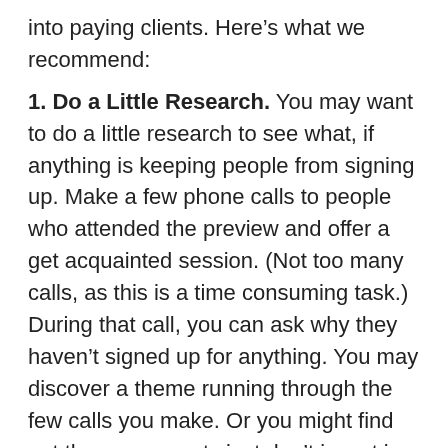into paying clients. Here's what we recommend:
1. Do a Little Research. You may want to do a little research to see what, if anything is keeping people from signing up. Make a few phone calls to people who attended the preview and offer a get acquainted session. (Not too many calls, as this is a time consuming task.) During that call, you can ask why they haven't signed up for anything. You may discover a theme running through the few calls you make. Or you might find out these prospects just don't invest in themselves or their businesses. This can be a valuable exercise to collect some needed feedback.